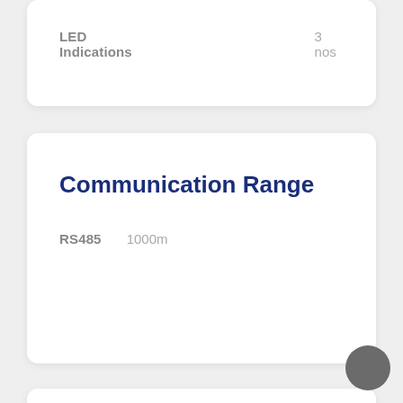| Parameter | Value |
| --- | --- |
| LED Indications | 3 nos |
Communication Range
| Interface | Range |
| --- | --- |
| RS485 | 1000m |
Mechanical Data